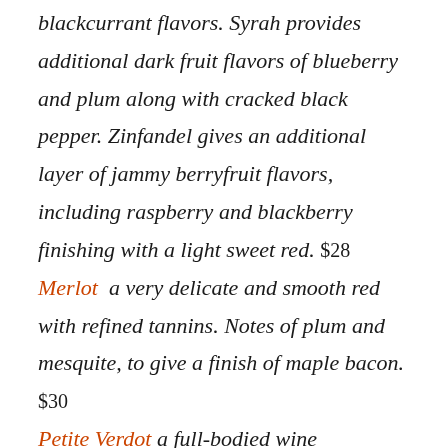blackcurrant flavors. Syrah provides additional dark fruit flavors of blueberry and plum along with cracked black pepper. Zinfandel gives an additional layer of jammy berryfruit flavors, including raspberry and blackberry finishing with a light sweet red. $28
Merlot a very delicate and smooth red with refined tannins. Notes of plum and mesquite, to give a finish of maple bacon. $30
Petite Verdot a full-bodied wine with...